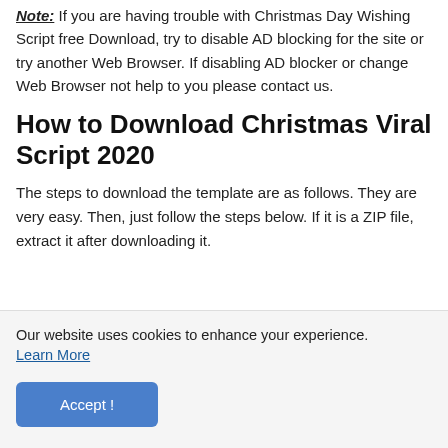Note: If you are having trouble with Christmas Day Wishing Script free Download, try to disable AD blocking for the site or try another Web Browser. If disabling AD blocker or change Web Browser not help to you please contact us.
How to Download Christmas Viral Script 2020
The steps to download the template are as follows. They are very easy. Then, just follow the steps below. If it is a ZIP file, extract it after downloading it.
Our website uses cookies to enhance your experience. Learn More